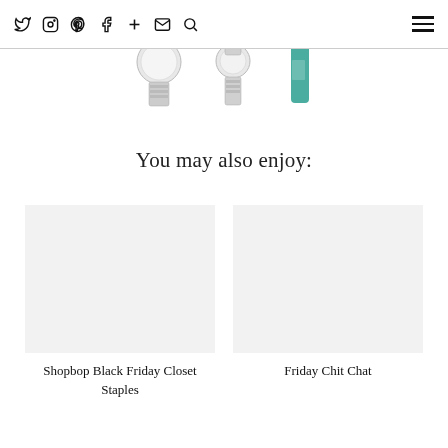Social media icons: Twitter, Instagram, Pinterest, Facebook, Plus, Email, Search; Hamburger menu
[Figure (photo): Three product images partially visible at top: metallic watch with silver bracelet band on left, another watch/bracelet in center, and a teal/green bottle on right]
You may also enjoy:
[Figure (photo): Empty placeholder image for Shopbop Black Friday Closet Staples article]
Shopbop Black Friday Closet Staples
[Figure (photo): Empty placeholder image for Friday Chit Chat article]
Friday Chit Chat